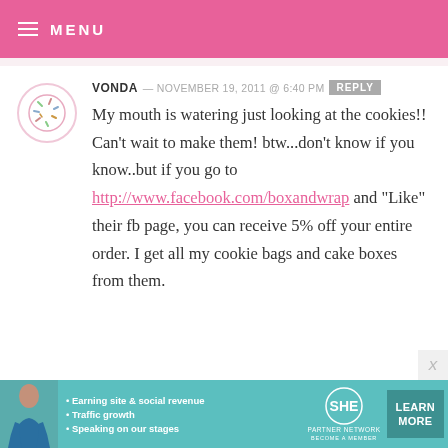MENU
VONDA — NOVEMBER 19, 2011 @ 6:40 PM REPLY
My mouth is watering just looking at the cookies!! Can't wait to make them! btw...don't know if you know..but if you go to http://www.facebook.com/boxandwrap and "Like" their fb page, you can receive 5% off your entire order. I get all my cookie bags and cake boxes from them.
[Figure (infographic): SHE Partner Network advertisement banner at bottom: shows a woman photo, bullet points 'Earning site & social revenue', 'Traffic growth', 'Speaking on our stages', SHE Partner Network logo, and a teal LEARN MORE button]